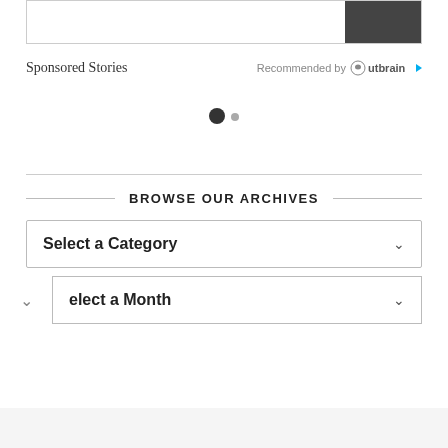[Figure (screenshot): Top portion of a web page showing a bordered content box with a dark image thumbnail in the upper-right corner]
Sponsored Stories
Recommended by Outbrain
[Figure (other): Carousel navigation dots: one large filled dark circle and one smaller gray dot]
BROWSE OUR ARCHIVES
[Figure (screenshot): Dropdown selector labeled 'Select a Category' with chevron]
[Figure (screenshot): Partially visible dropdown selector labeled 'Select a Month' with chevron, cut off at bottom of page]